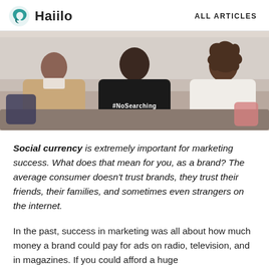Haiilo — ALL ARTICLES
[Figure (photo): Three people sitting on a couch, seen from behind, the middle person wearing a black shirt with '#NoSearching' text on the back.]
Social currency is extremely important for marketing success. What does that mean for you, as a brand? The average consumer doesn't trust brands, they trust their friends, their families, and sometimes even strangers on the internet.
In the past, success in marketing was all about how much money a brand could pay for ads on radio, television, and in magazines. If you could afford a huge